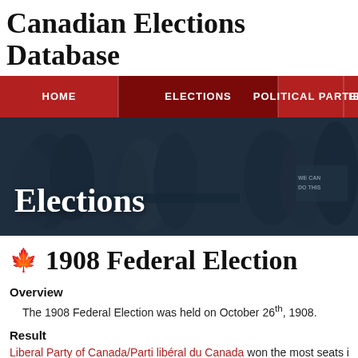Canadian Elections Database
[Figure (screenshot): Navigation bar with HOME, ELECTIONS (active/dark red), POLITICAL PARTIES, and partially visible EL... tab on a red background]
[Figure (photo): Dark blue-tinted hero image showing people at what appears to be a political event or debate, with 'Elections' text overlaid in white serif font]
🍁 1908 Federal Election
Overview
The 1908 Federal Election was held on October 26th, 1908.
Result
Liberal Party of Canada/Parti libéral du Canada won the most seats i